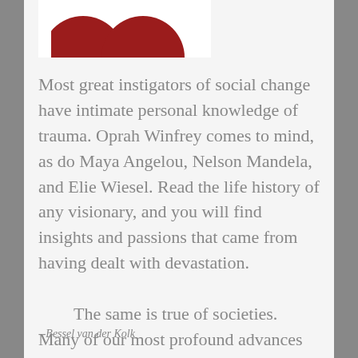[Figure (illustration): Partial view of two dark red circles at the top of the page, cropped by a white rectangular image area]
Most great instigators of social change have intimate personal knowledge of trauma. Oprah Winfrey comes to mind, as do Maya Angelou, Nelson Mandela, and Elie Wiesel. Read the life history of any visionary, and you will find insights and passions that came from having dealt with devastation.
	The same is true of societies. Many of our most profound advances grew out of experiencing trauma.
--Bessel van der Kolk